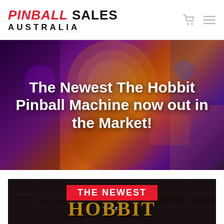PINBALL SALES AUSTRALIA
The Newest The Hobbit Pinball Machine now out in the Market!
[Figure (screenshot): Pinball machine hero image with colorful lights and The Hobbit theme, with bold white text overlay reading 'The Newest The Hobbit Pinball Machine now out in the Market!']
[Figure (screenshot): Second promotional image showing 'THE NEWEST' in red badge and partial gold 'The Hobbit' logo text at bottom, dark stone background]